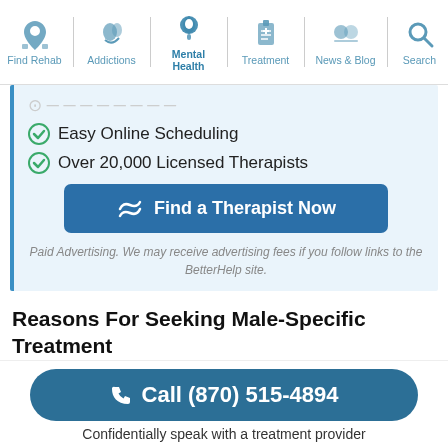Find Rehab | Addictions | Mental Health | Treatment | News & Blog | Search
Easy Online Scheduling
Over 20,000 Licensed Therapists
[Figure (screenshot): Blue button with BetterHelp icon: Find a Therapist Now]
Paid Advertising. We may receive advertising fees if you follow links to the BetterHelp site.
Reasons For Seeking Male-Specific Treatment
Often, men are compelled to go into treatment for different reasons than women. The desire to appear
[Figure (screenshot): Blue pill-shaped call button: Call (870) 515-4894]
Confidentially speak with a treatment provider